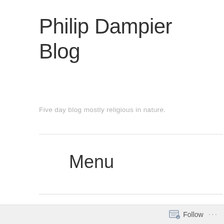Philip Dampier Blog
Five day blog mostly religious in nature.
Menu
One Body
October 27, 2017 · by spdampier
Follow ...